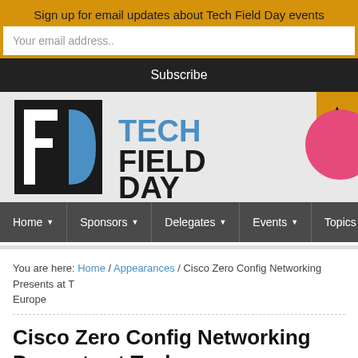Sign up for email updates about Tech Field Day events
Your email address..
Subscribe
[Figure (logo): Tech Field Day logo — black square with stylized white F and blue D shape, followed by bold text TECH FIELD DAY in black and blue]
Home ▾ Sponsors ▾ Delegates ▾ Events ▾ Topics ▾
You are here: Home / Appearances / Cisco Zero Config Networking Presents at T... Europe
Cisco Zero Config Networking Presents at Tech ... Cisco Live Europe